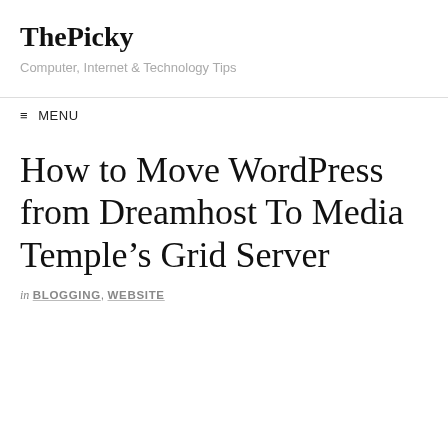ThePicky
Computer, Internet & Technology Tips
≡ MENU
How to Move WordPress from Dreamhost To Media Temple's Grid Server
in BLOGGING, WEBSITE